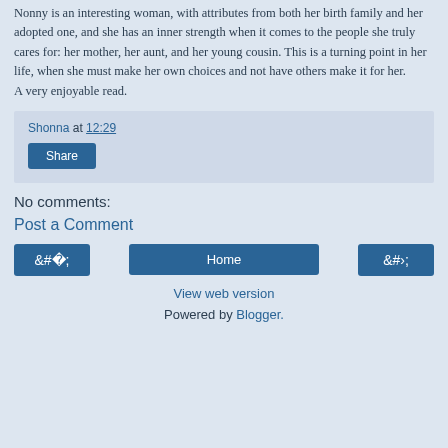Nonny is an interesting woman, with attributes from both her birth family and her adopted one, and she has an inner strength when it comes to the people she truly cares for: her mother, her aunt, and her young cousin. This is a turning point in her life, when she must make her own choices and not have others make it for her. A very enjoyable read.
Shonna at 12:29
Share
No comments:
Post a Comment
‹
Home
›
View web version
Powered by Blogger.